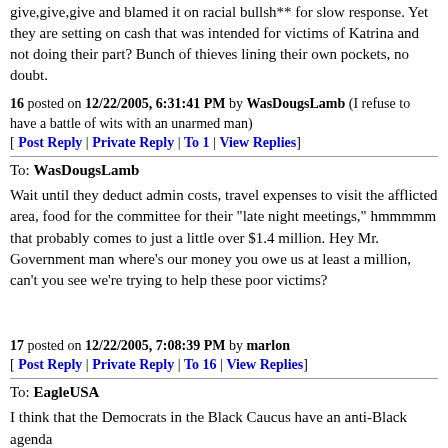give,give,give and blamed it on racial bullsh** for slow response. Yet they are setting on cash that was intended for victims of Katrina and not doing their part? Bunch of thieves lining their own pockets, no doubt.
16 posted on 12/22/2005, 6:31:41 PM by WasDougsLamb (I refuse to have a battle of wits with an unarmed man)
[ Post Reply | Private Reply | To 1 | View Replies]
To: WasDougsLamb
Wait until they deduct admin costs, travel expenses to visit the afflicted area, food for the committee for their "late night meetings," hmmmmm that probably comes to just a little over $1.4 million. Hey Mr. Government man where's our money you owe us at least a million, can't you see we're trying to help these poor victims?
17 posted on 12/22/2005, 7:08:39 PM by marlon
[ Post Reply | Private Reply | To 16 | View Replies]
To: EagleUSA
I think that the Democrats in the Black Caucus have an anti-Black agenda